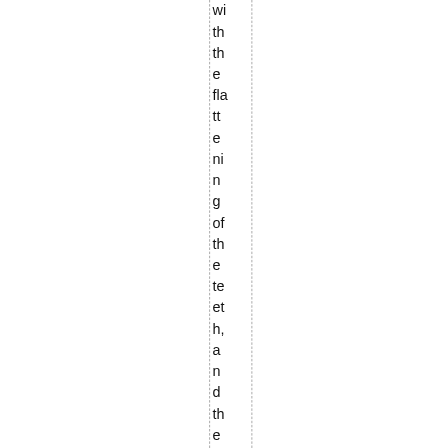wi th th e fla tt e ni n g of th e te et h, a n d th e fin e gr it pr o d uc e d